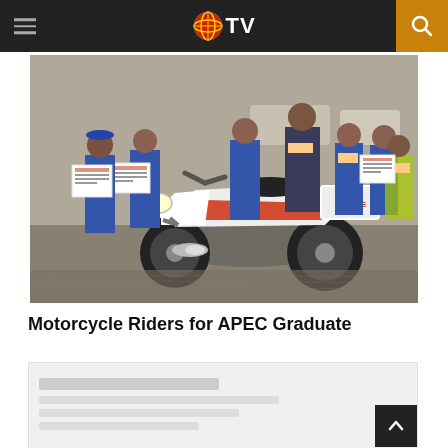EMTV
[Figure (photo): Group of police officers in blue uniforms holding certificates, standing beside a white police motorcycle with red and black markings labeled POLICE, in an outdoor parking area.]
Motorcycle Riders for APEC Graduate
[Figure (photo): Partial view of a second article or content block below the main article.]